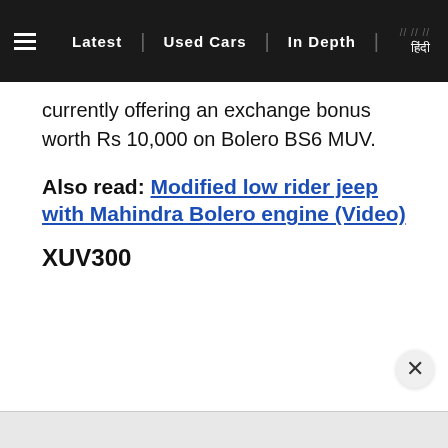≡  Latest  |  Used Cars  |  In Depth  | /////  हिंदी
currently offering an exchange bonus worth Rs 10,000 on Bolero BS6 MUV.
Also read: Modified low rider jeep with Mahindra Bolero engine (Video)
XUV300